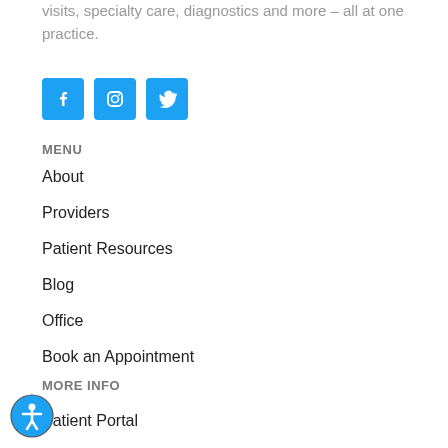visits, specialty care, diagnostics and more – all at one practice.
[Figure (other): Three social media icons: Facebook, Instagram, Twitter — blue square buttons]
MENU
About
Providers
Patient Resources
Blog
Office
Book an Appointment
MORE INFO
Patient Portal
[Figure (other): Accessibility icon button — blue circle with person/human figure symbol]